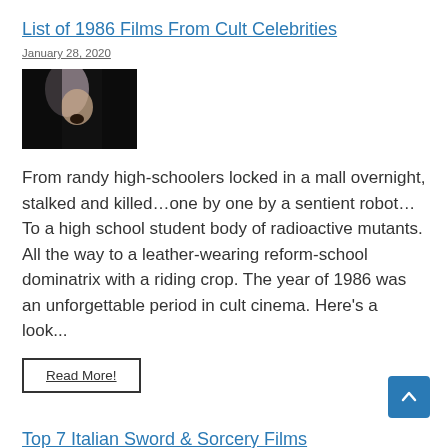List of 1986 Films From Cult Celebrities
January 28, 2020
[Figure (photo): Dark image of a woman with light-colored hair, mouth open, against a dark background]
From randy high-schoolers locked in a mall overnight, stalked and killed…one by one by a sentient robot… To a high school student body of radioactive mutants. All the way to a leather-wearing reform-school dominatrix with a riding crop. The year of 1986 was an unforgettable period in cult cinema. Here's a look...
Read More!
Top 7 Italian Sword & Sorcery Films